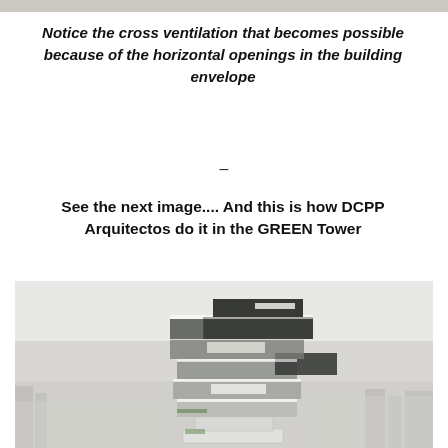Notice the cross ventilation that becomes possible because of the horizontal openings in the building envelope
–
See the next image.... And this is how DCPP Arquitectos do it in the GREEN Tower
[Figure (photo): Architectural rendering of the GREEN Tower by DCPP Arquitectos, showing a modern high-rise with stacked offset glass and dark box volumes, horizontal openings between floors allowing cross ventilation, set against a misty city skyline background.]